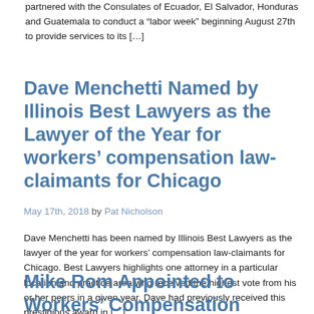partnered with the Consulates of Ecuador, El Salvador, Honduras and Guatemala to conduct a "labor week" beginning August 27th to provide services to its […]
Dave Menchetti Named by Illinois Best Lawyers as the Lawyer of the Year for workers' compensation law-claimants for Chicago
May 17th, 2018 by Pat Nicholson
Dave Menchetti has been named by Illinois Best Lawyers as the lawyer of the year for workers' compensation law-claimants for Chicago. Best Lawyers highlights one attorney in a particular location and practice area who received the highest vote from his or her peers in a given year. Dave had previously received this prestigious award in […]
Mike Rom Appointed to Workers' Compensation Section of the Illinois State Bar Association